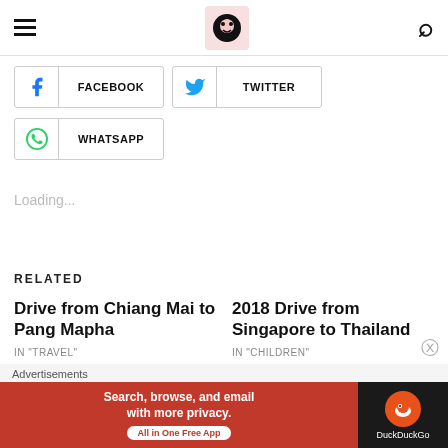≡ [logo] 🔍
FACEBOOK
TWITTER
WHATSAPP
Loading...
RELATED
Drive from Chiang Mai to Pang Mapha
IN "TRAVEL"
2018 Drive from Singapore to Thailand
IN "CHILDREN"
2017 Drive from Singapore
Advertisements
[Figure (screenshot): DuckDuckGo advertisement banner: orange background with text 'Search, browse, and email with more privacy. All in One Free App' and DuckDuckGo logo on dark background]